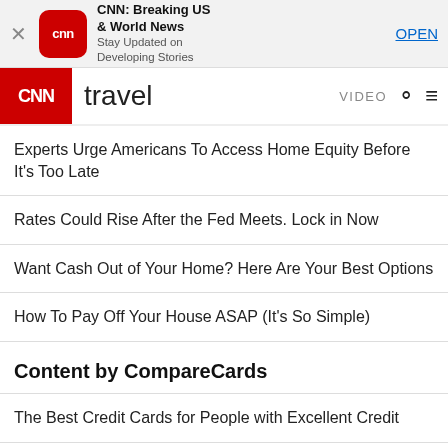[Figure (screenshot): CNN app banner ad with logo, title 'CNN: Breaking US & World News', subtitle 'Stay Updated on Developing Stories', and OPEN button]
CNN travel  VIDEO
Experts Urge Americans To Access Home Equity Before It's Too Late
Rates Could Rise After the Fed Meets. Lock in Now
Want Cash Out of Your Home? Here Are Your Best Options
How To Pay Off Your House ASAP (It's So Simple)
Content by CompareCards
The Best Credit Cards for People with Excellent Credit
This Card Makes Getting Out Of Debt Simple